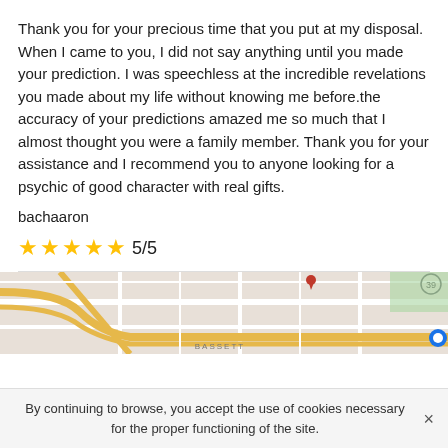Thank you for your precious time that you put at my disposal. When I came to you, I did not say anything until you made your prediction. I was speechless at the incredible revelations you made about my life without knowing me before.the accuracy of your predictions amazed me so much that I almost thought you were a family member. Thank you for your assistance and I recommend you to anyone looking for a psychic of good character with real gifts.
bachaaron
★★★★★ 5/5
[Figure (map): Street map showing road intersections, with labels including BASSETT and route marker 39, partially visible map image.]
By continuing to browse, you accept the use of cookies necessary for the proper functioning of the site.